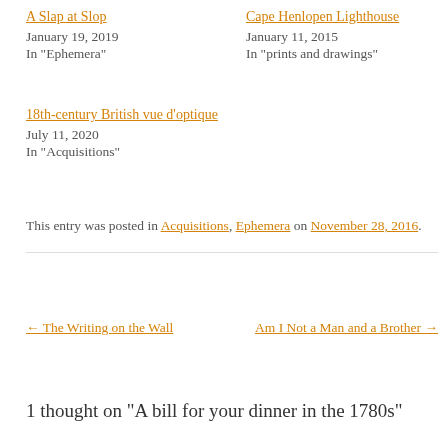A Slap at Slop
January 19, 2019
In "Ephemera"
Cape Henlopen Lighthouse
January 11, 2015
In "prints and drawings"
18th-century British vue d’optique
July 11, 2020
In "Acquisitions"
This entry was posted in Acquisitions, Ephemera on November 28, 2016.
← The Writing on the Wall
Am I Not a Man and a Brother →
1 thought on “A bill for your dinner in the 1780s”